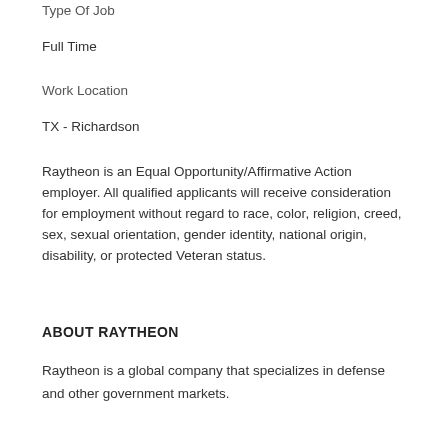Type Of Job
Full Time
Work Location
TX - Richardson
Raytheon is an Equal Opportunity/Affirmative Action employer. All qualified applicants will receive consideration for employment without regard to race, color, religion, creed, sex, sexual orientation, gender identity, national origin, disability, or protected Veteran status.
ABOUT RAYTHEON
Raytheon is a global company that specializes in defense and other government markets.